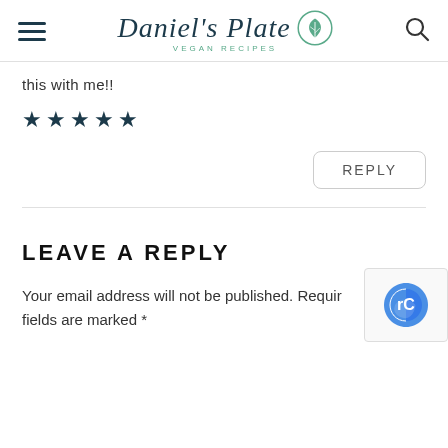Daniel's Plate – VEGAN RECIPES
this with me!!
★★★★★
REPLY
LEAVE A REPLY
Your email address will not be published. Required fields are marked *